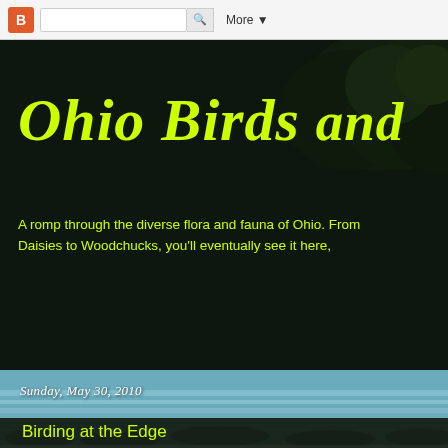[Figure (screenshot): Blogger navbar with orange B logo, search bar, and More button]
Ohio Birds and
A romp through the diverse flora and fauna of Ohio. Daisies to Woodchucks, you'll eventually see it here,
[Figure (photo): Waterfall landscape background photo with cascading water and rocks]
Sunday, May 30, 2010
Birding at the Edge
[Figure (photo): Outdoor photo showing a light pole and trees in overcast conditions]